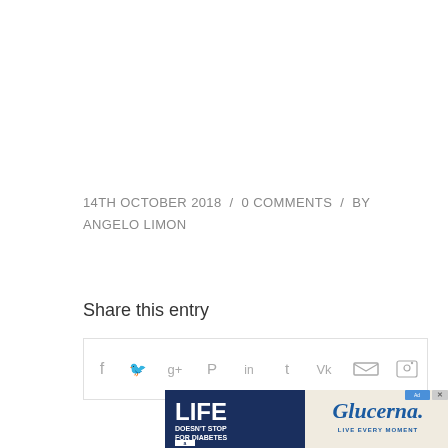14TH OCTOBER 2018  /  0 COMMENTS  /  BY ANGELO LIMON
Share this entry
[Figure (infographic): Social sharing icon bar with Facebook, Twitter, Google+, Pinterest, LinkedIn, Tumblr, VK, and email icons]
[Figure (photo): Glucerna advertisement banner: 'Life Doesn't Stop For Diabetes' with Glucerna product bottles and 'Live Every Moment' tagline on right side with Glucerna logo]